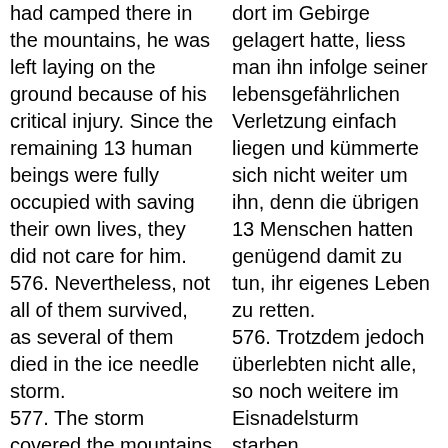had camped there in the mountains, he was left laying on the ground because of his critical injury. Since the remaining 13 human beings were fully occupied with saving their own lives, they did not care for him.
dort im Gebirge gelagert hatte, liess man ihn infolge seiner lebensgefährlichen Verletzung einfach liegen und kümmerte sich nicht weiter um ihn, denn die übrigen 13 Menschen hatten genügend damit zu tun, ihr eigenes Leben zu retten.
576. Nevertheless, not all of them survived, as several of them died in the ice needle storm.
576. Trotzdem jedoch überlebten nicht alle, so noch weitere im Eisnadelsturm starben.
577. The storm covered the mountains under (a) thick (layer of) ice, and in it the corpse of the "fallen one" remained mummified and
577. Der Sturm bedeckte das Gebirge mit dickem Eis, worin die Leiche des Abgestürtzen mumifizierte und erhalten blieb bis in die heutige Zeit, so sie etwa um den kommenden 20, September die...